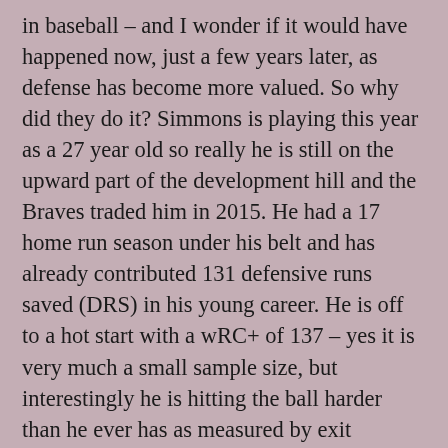in baseball – and I wonder if it would have happened now, just a few years later, as defense has become more valued. So why did they do it? Simmons is playing this year as a 27 year old so really he is still on the upward part of the development hill and the Braves traded him in 2015. He had a 17 home run season under his belt and has already contributed 131 defensive runs saved (DRS) in his young career. He is off to a hot start with a wRC+ of 137 – yes it is very much a small sample size, but interestingly he is hitting the ball harder than he ever has as measured by exit velocity and his hot start is not due to luck – his BABIP (batting average on balls in play) is only .316 so far. So why do you trade a guy like that when he is young? Wasn't he looking like a nice piece to build around? Well, not compared to Chipper Jones. The Braves vision of a star shortstop around whom one builds a team was the power hitting variety in the